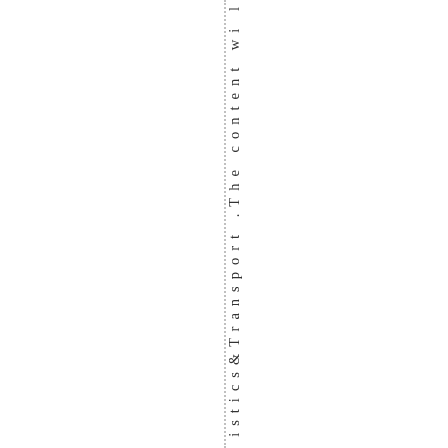istics & Transport .The content wi l